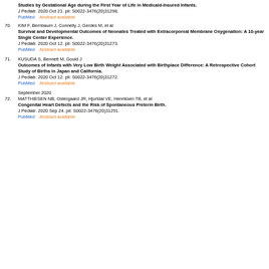Studies by Gestational Age during the First Year of Life in Medicaid-Insured Infants.
J Pediatr. 2020 Oct 21. pii: S0022-3476(20)31298.
PubMed    Abstract available
70. KIM F, Bernbaum J, Connelly J, Gerdes M, et al
Survival and Developmental Outcomes of Neonates Treated with Extracorporeal Membrane Oxygenation: A 10-year Single Center Experience.
J Pediatr. 2020 Oct 12. pii: S0022-3476(20)31273.
PubMed    Abstract available
71. KUSUDA S, Bennett M, Gould J
Outcomes of Infants with Very Low Birth Weight Associated with Birthplace Difference: A Retrospective Cohort Study of Births in Japan and California.
J Pediatr. 2020 Oct 12. pii: S0022-3476(20)31272.
PubMed    Abstract available
September 2020
72. MATTHIESEN NB, Ostergaard JR, Hjortdal VE, Henriksen TB, et al
Congenital Heart Defects and the Risk of Spontaneous Preterm Birth.
J Pediatr. 2020 Sep 24. pii: S0022-3476(20)31251.
PubMed    Abstract available